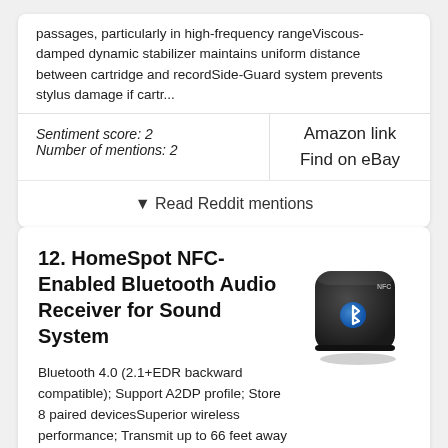passages, particularly in high-frequency rangeViscous-damped dynamic stabilizer maintains uniform distance between cartridge and recordSide-Guard system prevents stylus damage if cartr...
Sentiment score: 2
Number of mentions: 2
Amazon link
Find on eBay
▼ Read Reddit mentions
12. HomeSpot NFC-Enabled Bluetooth Audio Receiver for Sound System
Bluetooth 4.0 (2.1+EDR backward compatible); Support A2DP profile; Store 8 paired devicesSuperior wireless performance; Transmit up to 66 feet away with line of sightTap-and-pair and tap-and-connect the
[Figure (photo): Photo of a black HomeSpot NFC-enabled Bluetooth audio receiver device, small square rounded shape with Bluetooth logo on top]